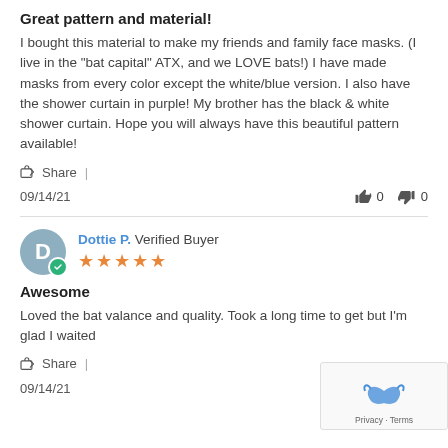Great pattern and material!
I bought this material to make my friends and family face masks. (I live in the "bat capital" ATX, and we LOVE bats!) I have made masks from every color except the white/blue version. I also have the shower curtain in purple! My brother has the black & white shower curtain. Hope you will always have this beautiful pattern available!
Share |
09/14/21   👍 0   👎 0
Dottie P.  Verified Buyer  ★★★★★
Awesome
Loved the bat valance and quality. Took a long time to get but I'm glad I waited
Share |
09/14/21   👍 0   👎 0